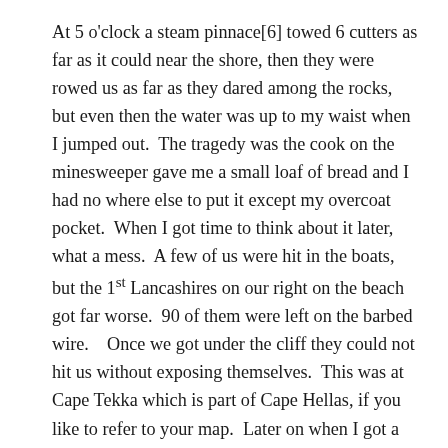At 5 o'clock a steam pinnace[6] towed 6 cutters as far as it could near the shore, then they were rowed us as far as they dared among the rocks, but even then the water was up to my waist when I jumped out.  The tragedy was the cook on the minesweeper gave me a small loaf of bread and I had no where else to put it except my overcoat pocket.  When I got time to think about it later, what a mess.  A few of us were hit in the boats, but the 1st Lancashires on our right on the beach got far worse.  90 of them were left on the barbed wire.    Once we got under the cliff they could not hit us without exposing themselves.  This was at Cape Tekka which is part of Cape Hellas, if you like to refer to your map.  Later on when I got a machine gun bullet through my foot, was when my troubles really started.  Just being a minor wound a doctor never saw it until I got to Malta, when it was swollen about as big as my head with septic poison.  There